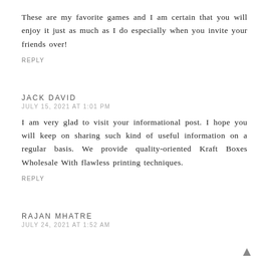These are my favorite games and I am certain that you will enjoy it just as much as I do especially when you invite your friends over!
REPLY
JACK DAVID
JULY 15, 2021 AT 1:01 PM
I am very glad to visit your informational post. I hope you will keep on sharing such kind of useful information on a regular basis. We provide quality-oriented Kraft Boxes Wholesale With flawless printing techniques.
REPLY
RAJAN MHATRE
JULY 24, 2021 AT 1:52 AM